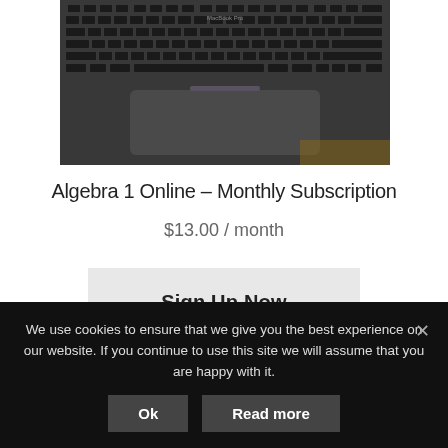[Figure (photo): Photo of a MacBook Pro laptop keyboard and trackpad viewed from above at an angle, showing the dark aluminum body with backlit keys]
Algebra 1 Online – Monthly Subscription
$13.00 / month
Sign Up Now
We use cookies to ensure that we give you the best experience on our website. If you continue to use this site we will assume that you are happy with it.
Ok
Read more